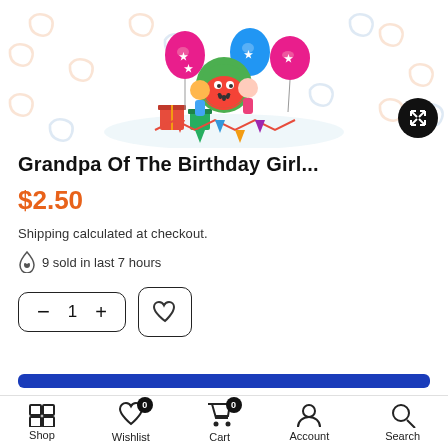[Figure (photo): Product image showing Cocomelon birthday characters with balloons and gifts on a patterned background with an expand button in bottom right]
Grandpa Of The Birthday Girl...
$2.50
Shipping calculated at checkout.
9 sold in last 7 hours
Shop  Wishlist  Cart  Account  Search